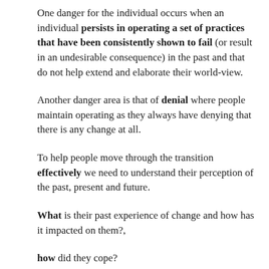One danger for the individual occurs when an individual persists in operating a set of practices that have been consistently shown to fail (or result in an undesirable consequence) in the past and that do not help extend and elaborate their world-view.
Another danger area is that of denial where people maintain operating as they always have denying that there is any change at all.
To help people move through the transition effectively we need to understand their perception of the past, present and future.
What is their past experience of change and how has it impacted on them?,
how did they cope?